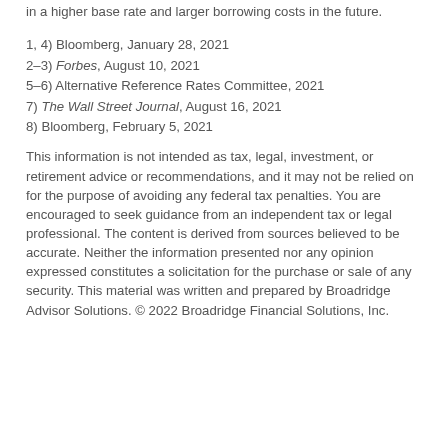in a higher base rate and larger borrowing costs in the future.
1, 4) Bloomberg, January 28, 2021
2–3) Forbes, August 10, 2021
5–6) Alternative Reference Rates Committee, 2021
7) The Wall Street Journal, August 16, 2021
8) Bloomberg, February 5, 2021
This information is not intended as tax, legal, investment, or retirement advice or recommendations, and it may not be relied on for the purpose of avoiding any federal tax penalties. You are encouraged to seek guidance from an independent tax or legal professional. The content is derived from sources believed to be accurate. Neither the information presented nor any opinion expressed constitutes a solicitation for the purchase or sale of any security. This material was written and prepared by Broadridge Advisor Solutions. © 2022 Broadridge Financial Solutions, Inc.